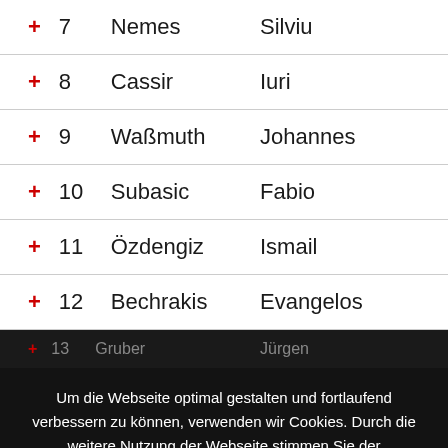|  | Nr | Nachname | Vorname |
| --- | --- | --- | --- |
| + | 7 | Nemes | Silviu |
| + | 8 | Cassir | Iuri |
| + | 9 | Waßmuth | Johannes |
| + | 10 | Subasic | Fabio |
| + | 11 | Özdengiz | Ismail |
| + | 12 | Bechrakis | Evangelos |
| + | 13 | Gruber | Jürgen |
| + | 15 | Milenkovic | Nebojsa |
| + | 16 | Petatovic | Milos |
Um die Webseite optimal gestalten und fortlaufend verbessern zu können, verwenden wir Cookies. Durch die weitere Nutzung der Webseite stimmen Sie der Verwendung von Cookies zu.